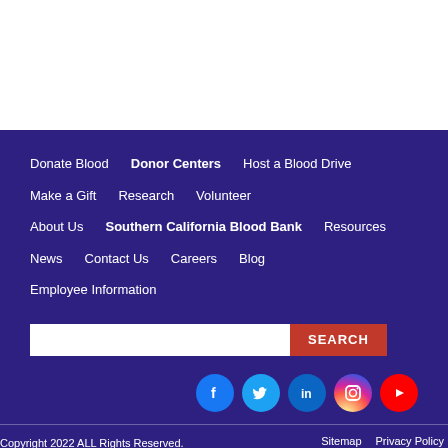Donate Blood   Donor Centers   Host a Blood Drive   Make a Gift   Research   Volunteer   About Us   Southern California Blood Bank   Resources   News   Contact Us   Careers   Blog   Employee Information
SEARCH [search bar]
Facebook Twitter LinkedIn Instagram YouTube social icons
Copyright 2022 ALL Rights Reserved.   Sitemap   Privacy Policy   Terms of Use